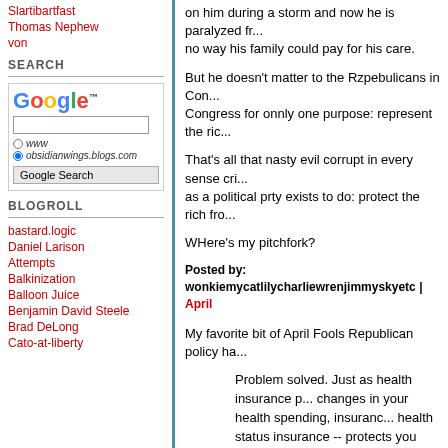Slartibartfast
Thomas Nephew
von
SEARCH
[Figure (screenshot): Google search widget with logo, text input, radio buttons for www and obsidianwings.blogs.com, and Google Search button]
BLOGROLL
bastard.logic
Daniel Larison
Attempts
Balkinization
Balloon Juice
Benjamin David Steele
Brad DeLong
Cato-at-liberty
on him during a storm and now he is paralyzed fr... no way his family could pay for his care.
But he doesn't matter to the Rzpebulicans in Con... Congress for onnly one purpose: represent the ric...
That's all that nasty evil corrupt in every sense cri... as a political prty exists to do: protect the rich fro...
WHere's my pitchfork?
Posted by: wonkiemycatlilycharliewrenjimmyskyetc | April
My favorite bit of April Fools Republican policy ha...
Problem solved. Just as health insurance p... changes in your health spending, insuranc... health status insurance -- protects you fro... insurance premiums. And if health status i... costly or unpredictable, we can always ins... adaptability of the market is infinite. If I cou... computer, I would.
But the idea that the Republicans introduced a bu... make predictions does so by using tax rates from